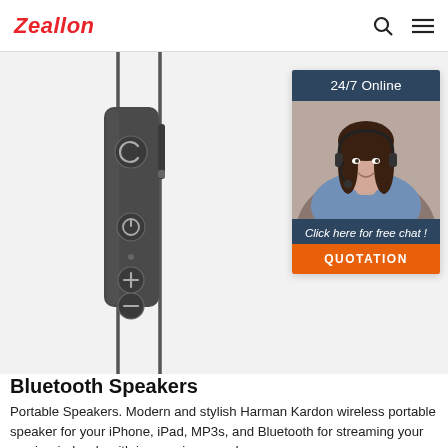Zeallon
[Figure (photo): Bluetooth earphone inline remote/control module with volume buttons, power button, and microphone, with cables extending above and below. Dark gray finish against light gray background.]
[Figure (infographic): Customer support chat widget with '24/7 Online' header, photo of smiling woman with headset, 'Click here for free chat!' text, and orange QUOTATION button.]
Bluetooth Speakers
Portable Speakers. Modern and stylish Harman Kardon wireless portable speaker for your iPhone, iPad, MP3s, and Bluetooth for streaming your music wirelessly with impressive sound.